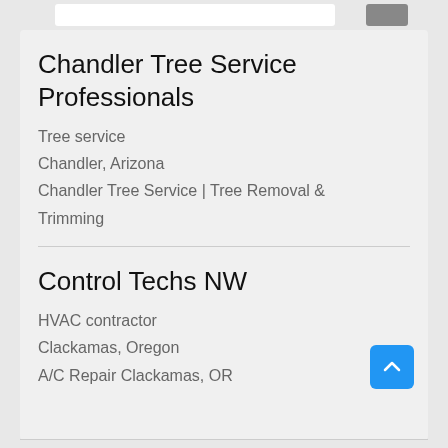[Figure (screenshot): Search bar UI element at top of page with white input box and grey button]
Chandler Tree Service Professionals
Tree service
Chandler, Arizona
Chandler Tree Service | Tree Removal & Trimming
Control Techs NW
HVAC contractor
Clackamas, Oregon
A/C Repair Clackamas, OR